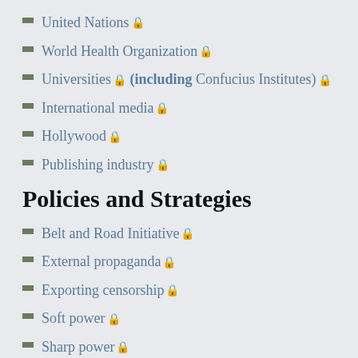United Nations 🔒
World Health Organization 🔒
Universities 🔒 (including Confucius Institutes) 🔒
International media 🔒
Hollywood 🔒
Publishing industry 🔒
Policies and Strategies
Belt and Road Initiative 🔒
External propaganda 🔒
Exporting censorship 🔒
Soft power 🔒
Sharp power 🔒